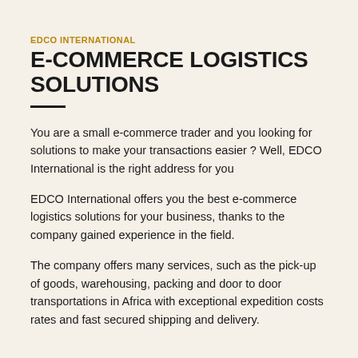EDCO INTERNATIONAL
E-COMMERCE LOGISTICS SOLUTIONS
You are a small e-commerce trader and you looking for solutions to make your transactions easier ? Well, EDCO International is the right address for you
EDCO International offers you the best e-commerce logistics solutions for your business, thanks to the company gained experience in the field.
The company offers many services, such as the pick-up of goods, warehousing, packing and door to door transportations in Africa with exceptional expedition costs rates and fast secured shipping and delivery.